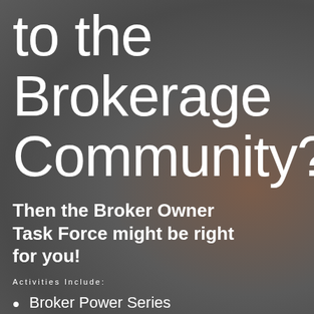to the Brokerage Community?
Then the Broker Owner Task Force might be right for you!
Activities Include:
Broker Power Series
Annual Keynote Speaker Event